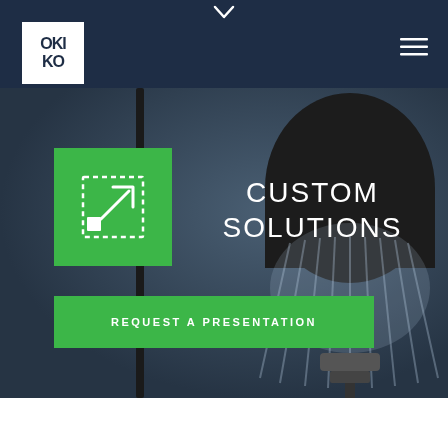OKI OK (logo) / navigation bar with hamburger menu
[Figure (screenshot): Hero banner showing a large illuminated vintage Edison light bulb on a dark blue-grey background. A green square icon with a dashed-border expand/scale arrow graphic appears on the left side of the banner. Large white text reads CUSTOM SOLUTIONS. A green button below reads REQUEST A PRESENTATION.]
CUSTOM SOLUTIONS
REQUEST A PRESENTATION